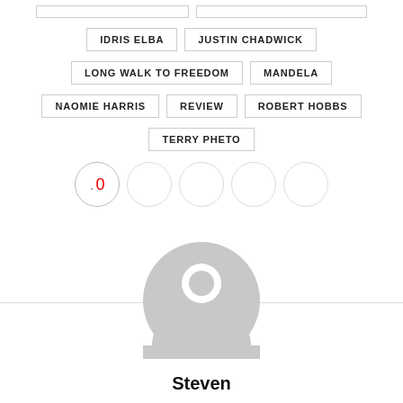IDRIS ELBA
JUSTIN CHADWICK
LONG WALK TO FREEDOM
MANDELA
NAOMIE HARRIS
REVIEW
ROBERT HOBBS
TERRY PHETO
[Figure (infographic): Social share buttons row: first circle shows count 0 with a dot, followed by four empty circles]
[Figure (illustration): Generic user avatar placeholder: grey circle with silhouette of a person (head and shoulders)]
Steven